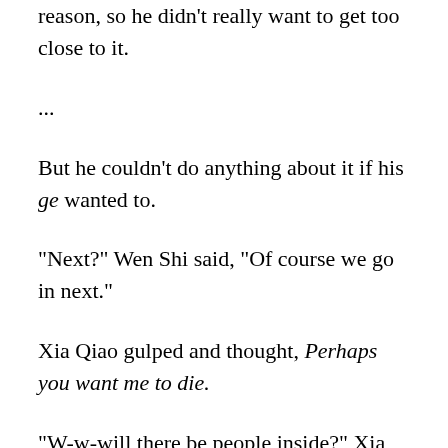reason, so he didn't really want to get too close to it.
...
But he couldn't do anything about it if his ge wanted to.
“Next?” Wen Shi said, “Of course we go in next.”
Xia Qiao gulped and thought, Perhaps you want me to die.
“W-w-will there be people inside?” Xia Qiao questioned.